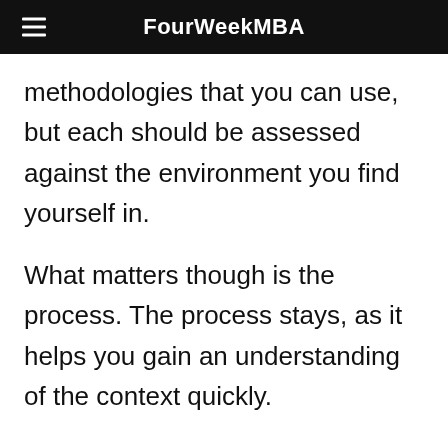FourWeekMBA
methodologies that you can use, but each should be assessed against the environment you find yourself in.
What matters though is the process. The process stays, as it helps you gain an understanding of the context quickly.